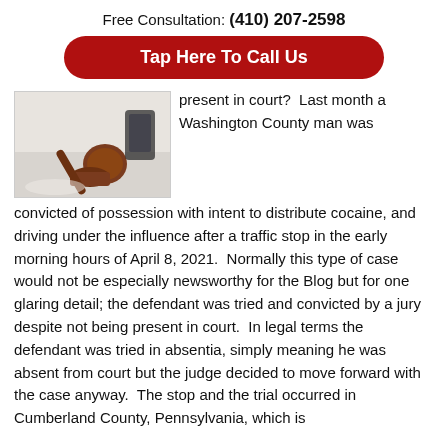Free Consultation: (410) 207-2598
Tap Here To Call Us
[Figure (photo): A wooden gavel and gavel block on a light surface, with a smartphone visible in the background.]
present in court?  Last month a Washington County man was convicted of possession with intent to distribute cocaine, and driving under the influence after a traffic stop in the early morning hours of April 8, 2021.  Normally this type of case would not be especially newsworthy for the Blog but for one glaring detail; the defendant was tried and convicted by a jury despite not being present in court.  In legal terms the defendant was tried in absentia, simply meaning he was absent from court but the judge decided to move forward with the case anyway.  The stop and the trial occurred in Cumberland County, Pennsylvania, which is